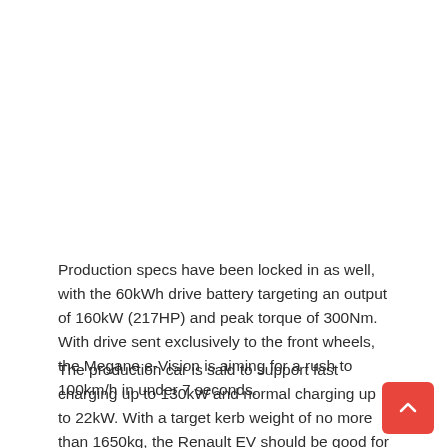Production specs have been locked in as well, with the 60kWh drive battery targeting an output of 160kW (217HP) and peak torque of 300Nm. With drive sent exclusively to the front wheels, the Megane e-Vision is aiming for a rush to 100km/h in under 7 seconds.
The production car is said to support fast charging up to 130kW and normal charging up to 22kW. With a target kerb weight of no more than 1650kg, the Renault EV should be good for at least 450km in range from a single charge.